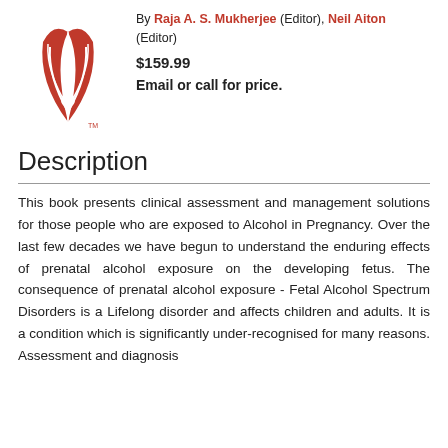[Figure (logo): Red publisher logo with stylized figure/flame design]
By Raja A. S. Mukherjee (Editor), Neil Aiton (Editor)
$159.99
Email or call for price.
Description
This book presents clinical assessment and management solutions for those people who are exposed to Alcohol in Pregnancy. Over the last few decades we have begun to understand the enduring effects of prenatal alcohol exposure on the developing fetus. The consequence of prenatal alcohol exposure - Fetal Alcohol Spectrum Disorders is a Lifelong disorder and affects children and adults. It is a condition which is significantly under-recognised for many reasons. Assessment and diagnosis